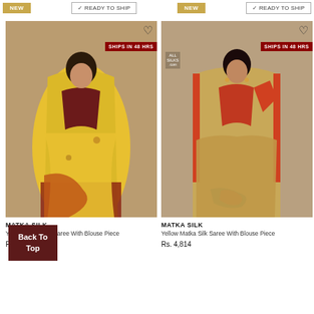[Figure (photo): Top bar with NEW button and READY TO SHIP badges from previous row of products]
[Figure (photo): Yellow Matka Silk Saree worn by model, with maroon blouse, SHIPS IN 48 HRS badge]
MATKA SILK
Yellow Matka Silk Saree With Blouse Piece
Rs. 1,570
[Figure (photo): Beige/tan Matka Silk Saree with orange/red border worn by model, SHIPS IN 48 HRS badge, AllSilks.com logo]
MATKA SILK
Yellow Matka Silk Saree With Blouse Piece
Rs. 4,814
[Figure (other): Back To Top button overlay]